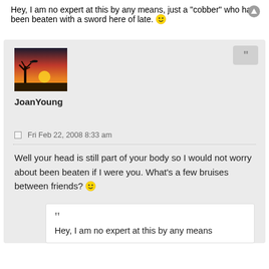Hey, I am no expert at this by any means, just a "cobber" who has been beaten with a sword here of late. 😀
[Figure (photo): Sunset silhouette photo used as user avatar for JoanYoung]
JoanYoung
Fri Feb 22, 2008 8:33 am
Well your head is still part of your body so I would not worry about been beaten if I were you. What's a few bruises between friends? 😀
Hey, I am no expert at this by any means